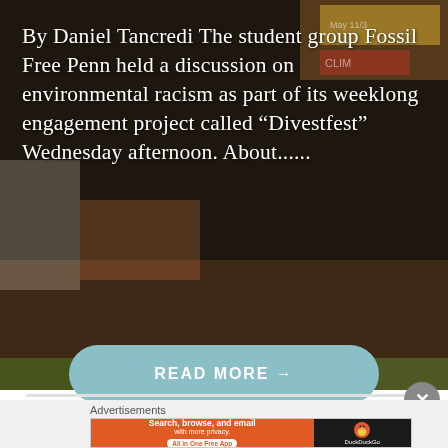[Figure (photo): Dark background photo showing a street protest/demonstration scene with people and signs related to climate/environment, brick pavement visible, overlaid with text and a 'Read More' button]
By Daniel Tancredi The student group Fossil Free Penn held a discussion on environmental racism as part of its weeklong engagement project called “Divestfest” Wednesday afternoon. About......
READ MORE →
Advertisements
[Figure (screenshot): DuckDuckGo advertisement banner: orange section with text 'Search, browse, and email with more privacy. All in One Free App' and dark section with DuckDuckGo duck logo and 'DuckDuckGo' text]